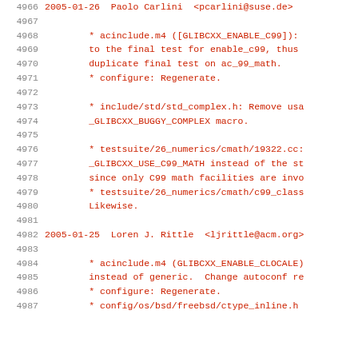4966  2005-01-26  Paolo Carlini  <pcarlini@suse.de>
4967
4968          * acinclude.m4 ([GLIBCXX_ENABLE_C99]):
4969          to the final test for enable_c99, thus
4970          duplicate final test on ac_99_math.
4971          * configure: Regenerate.
4972
4973          * include/std/std_complex.h: Remove usa
4974          _GLIBCXX_BUGGY_COMPLEX macro.
4975
4976          * testsuite/26_numerics/cmath/19322.cc:
4977          _GLIBCXX_USE_C99_MATH instead of the st
4978          since only C99 math facilities are invo
4979          * testsuite/26_numerics/cmath/c99_class
4980          Likewise.
4981
4982  2005-01-25  Loren J. Rittle  <ljrittle@acm.org>
4983
4984          * acinclude.m4 (GLIBCXX_ENABLE_CLOCALE)
4985          instead of generic.  Change autoconf re
4986          * configure: Regenerate.
4987          * config/os/bsd/freebsd/ctype_inline.h